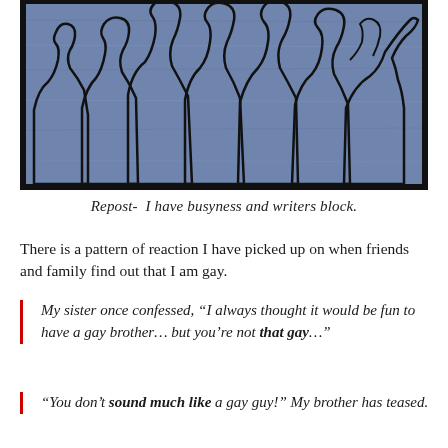[Figure (illustration): A blue-toned illustration showing black outline silhouettes of several people standing together against a textured blue background, viewed from behind/side]
Repost-  I have busyness and writers block.
There is a pattern of reaction I have picked up on when friends and family find out that I am gay.
My sister once confessed, “I always thought it would be fun to have a gay brother… but you’re not that gay…”
“You don’t sound much like a gay guy!” My brother has teased.